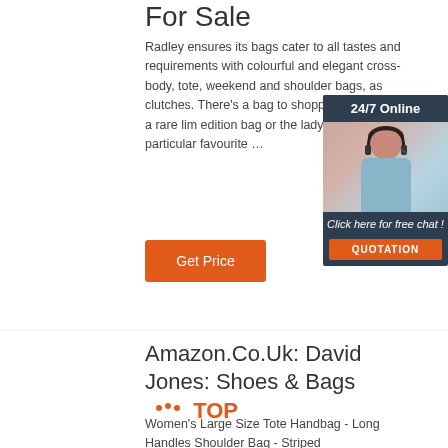For Sale
Radley ensures its bags cater to all tastes and requirements with colourful and elegant cross-body, tote, weekend and shoulder bags, as clutches. There's a bag to shopper looking for a rare lim edition bag or the lady with a particular favourite …
[Figure (infographic): 24/7 Online chat widget with a woman wearing a headset. Dark blue/navy background. Bottom section has 'Click here for free chat!' text and an orange QUOTATION button.]
Get Price
Amazon.Co.Uk: David Jones: Shoes & Bags
Women's Large Size Tote Handbag - Long Handles Shoulder Bag - Striped